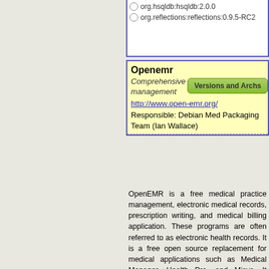org.hsqldb:hsqldb:2.0.0
org.reflections:reflections:0.9.5-RC2
Openemr
Comprehensive medical practice management
http://www.open-emr.org/
Responsible: Debian Med Packaging Team (Ian Wallace)
Versions and Archs
OpenEMR is a free medical practice management, electronic medical records, prescription writing, and medical billing application. These programs are often referred to as electronic health records. It is a free open source replacement for medical applications such as Medical Manager, Health Pro, and Misys. It features support for EDI billing to clearing houses such as MedAvant and ZirMED using ANSI X12. Medical claim and accounts receivable is accomplished through SQL-Ledger, which has been customized. Calendar features include categories for appointment types, colors associated with appointment types, repeating appointments, and the ability to restrict appointments based on type. There are customizable medical encounter forms...